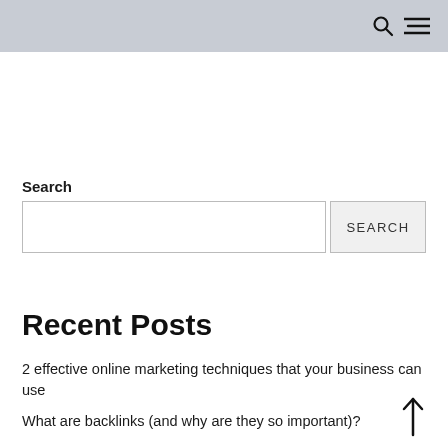🔍 ≡
Search
SEARCH
Recent Posts
2 effective online marketing techniques that your business can use
What are backlinks (and why are they so important)?